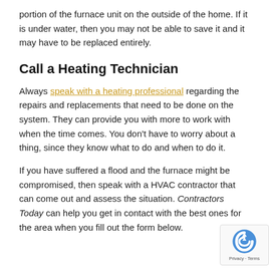portion of the furnace unit on the outside of the home. If it is under water, then you may not be able to save it and it may have to be replaced entirely.
Call a Heating Technician
Always speak with a heating professional regarding the repairs and replacements that need to be done on the system. They can provide you with more to work with when the time comes. You don't have to worry about a thing, since they know what to do and when to do it.
If you have suffered a flood and the furnace might be compromised, then speak with a HVAC contractor that can come out and assess the situation. Contractors Today can help you get in contact with the best ones for the area when you fill out the form below.